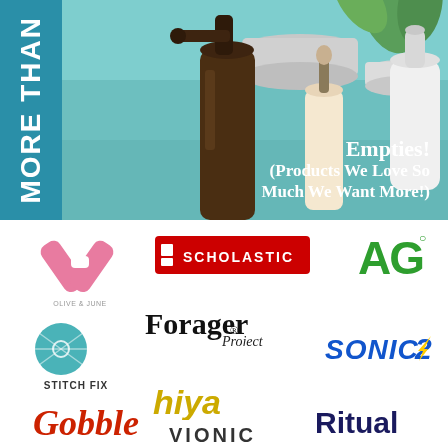[Figure (photo): Hero image showing beauty/skincare products (spray bottles, jars, dropper) on a teal background with text overlay 'Empties! (Products We Love So Much We Want More!)' and a dark teal sidebar reading 'MORE THAN']
[Figure (logo): Olive & June logo - pink ampersand/X symbol with text 'OLIVE & JUNE' below]
[Figure (logo): Scholastic logo - red rectangle with white text 'SCHOLASTIC' and two squares on left]
[Figure (logo): AG logo - green letters 'AG' with superscript circle/registered mark]
[Figure (logo): Forager Project logo - black serif text 'Forager Project']
[Figure (logo): Stitch Fix logo - teal circle with pattern and text 'STITCH FIX' below]
[Figure (logo): Sonic 2 logo - blue bold italic text 'SONIC2' with lightning bolt styling]
[Figure (logo): hiya logo - yellow/gold italic lowercase text 'hiya']
[Figure (logo): Gobble logo - red script/cursive text 'Gobble']
[Figure (logo): Ritual logo - dark navy bold text 'Ritual']
[Figure (logo): Vionic logo - uppercase text 'VIONIC' partially visible at bottom]